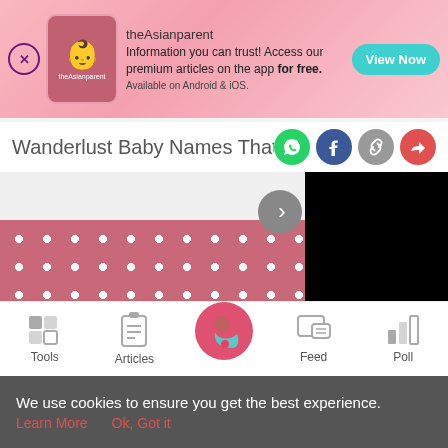[Figure (screenshot): theAsianparent app advertisement banner with pink gradient background, app icon, text and 'View Now' button]
Wanderlust Baby Names That Match
[Figure (screenshot): Article content area with polka dot pattern background (dark pink with white dots) and a black video/image box, with a slideshow navigation arrow control]
[Figure (screenshot): Bottom navigation bar with Tools, Articles, Home (pregnant woman icon in pink circle), Feed, and Poll icons]
We use cookies to ensure you get the best experience.
Learn More   Ok, Got it